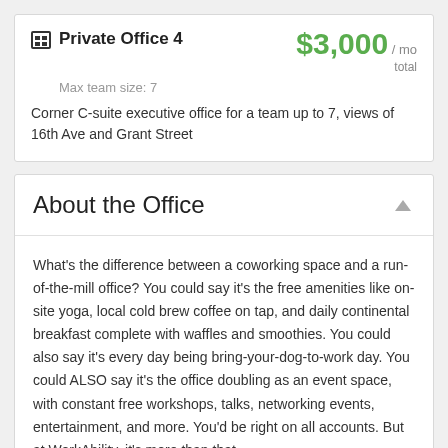Private Office 4
Max team size: 7
$3,000 / mo total
Corner C-suite executive office for a team up to 7, views of 16th Ave and Grant Street
About the Office
What's the difference between a coworking space and a run-of-the-mill office? You could say it's the free amenities like on-site yoga, local cold brew coffee on tap, and daily continental breakfast complete with waffles and smoothies. You could also say it's every day being bring-your-dog-to-work day. You could ALSO say it's the office doubling as an event space, with constant free workshops, talks, networking events, entertainment, and more. You'd be right on all accounts. But at WorkAbility, it's more than that.
We like to think "it takes a village" when it comes to growing your business, so our team works hard to provide our